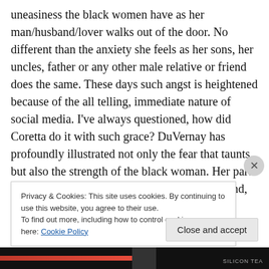uneasiness the black women have as her man/husband/lover walks out of the door. No different than the anxiety she feels as her sons, her uncles, father or any other male relative or friend does the same. These days such angst is heightened because of the all telling, immediate nature of social media. I've always questioned, how did Coretta do it with such grace? DuVernay has profoundly illustrated not only the fear that taunts but also the strength of the black woman. Her part in the civil rights movement, her full body, mind, and spirit on the front lines by highlighting the roles of Diane Nash (Tessa Thompson)
Privacy & Cookies: This site uses cookies. By continuing to use this website, you agree to their use.
To find out more, including how to control cookies, see here: Cookie Policy
Close and accept